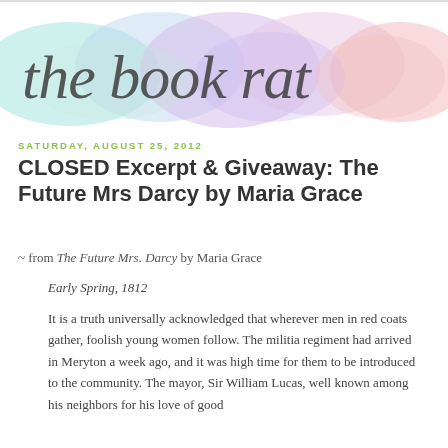[Figure (logo): The Book Rat blog logo — cursive/calligraphy text reading 'the book rat' on a watercolor background of pastel colors (cyan, purple, pink)]
Saturday, August 25, 2012
CLOSED Excerpt & Giveaway: The Future Mrs Darcy by Maria Grace
~ from The Future Mrs. Darcy by Maria Grace
Early Spring, 1812
It is a truth universally acknowledged that wherever men in red coats gather, foolish young women follow. The militia regiment had arrived in Meryton a week ago, and it was high time for them to be introduced to the community. The mayor, Sir William Lucas, well known among his neighbors for his love of good